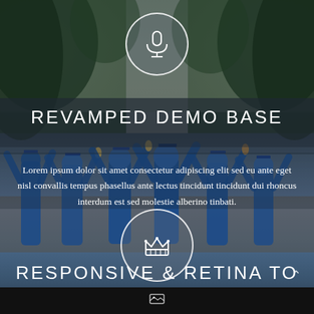[Figure (photo): Background photo of graduating students in blue caps and gowns celebrating with arms raised, with trees visible in upper portion. Overlaid with UI elements including circular icon buttons, title text, and body text.]
REVAMPED DEMO BASE
Lorem ipsum dolor sit amet consectetur adipiscing elit sed eu ante eget nisl convallis tempus phasellus ante lectus tincidunt tincidunt dui rhoncus interdum est sed molestie alberino tinbati.
RESPONSIVE & RETINA TO